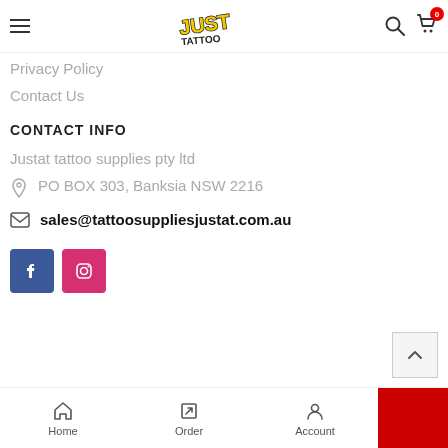[Figure (screenshot): Website header with hamburger menu, graffiti-style logo, search icon, and cart icon with badge showing 0]
Privacy Policy
Contact Us
CONTACT INFO
Justat tattoo supplies pty ltd
PO BOX 303, Banksia NSW 2216
sales@tattoosuppliesjustat.com.au
[Figure (logo): Facebook and Instagram social media icon buttons]
Home  Order  Account